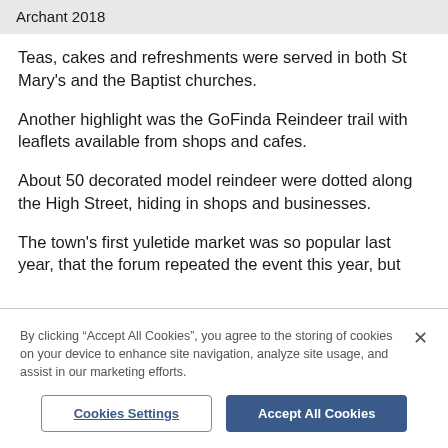Archant 2018
Teas, cakes and refreshments were served in both St Mary's and the Baptist churches.
Another highlight was the GoFinda Reindeer trail with leaflets available from shops and cafes.
About 50 decorated model reindeer were dotted along the High Street, hiding in shops and businesses.
The town's first yuletide market was so popular last year, that the forum repeated the event this year, but
By clicking “Accept All Cookies”, you agree to the storing of cookies on your device to enhance site navigation, analyze site usage, and assist in our marketing efforts.